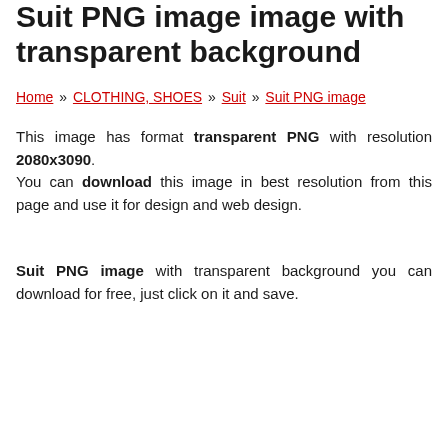Suit PNG image image with transparent background
Home » CLOTHING, SHOES » Suit » Suit PNG image
This image has format transparent PNG with resolution 2080x3090. You can download this image in best resolution from this page and use it for design and web design.
Suit PNG image with transparent background you can download for free, just click on it and save.